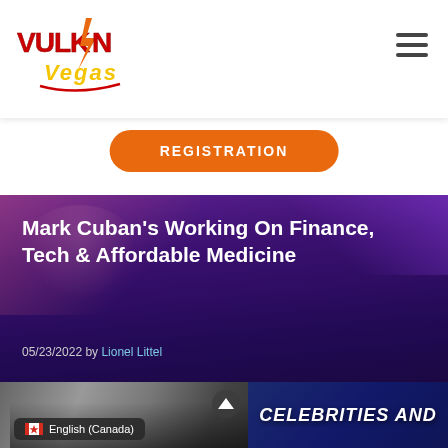[Figure (logo): Vulkan Vegas casino logo — red and yellow stylized text with lightning bolt]
[Figure (other): Hamburger menu icon (three horizontal lines) in top-right corner]
REGISTRATION
[Figure (photo): Dark purple hero background with illustrated figure, neon lights, casino atmosphere]
Mark Cuban’s Working On Finance, Tech & Affordable Medicine
05/23/2022 by Lionel Littel
[Figure (photo): Bottom strip showing crowd photo on left and 'CELEBRITIES AND' text overlay on dark blue background on right]
English (Canada)